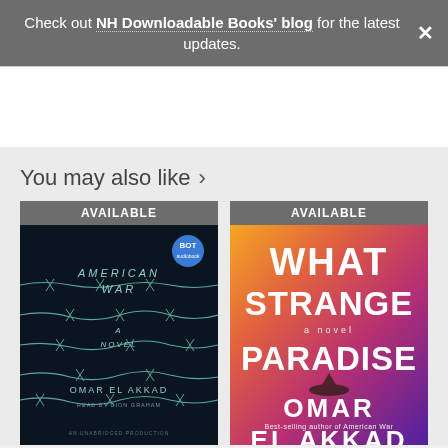Check out NH Downloadable Books' blog for the latest updates.
You may also like >
[Figure (photo): Book cover of 'American War: A Novel' by Omar El Akkad, dark background with barbed wire. AVAILABLE badge at top.]
[Figure (photo): Book cover of 'What Strange Paradise: A Novel' by Omar El Akkad, colorful gradient background with large white text. AVAILABLE badge at top.]